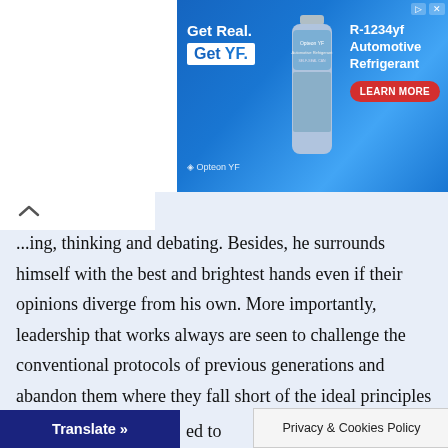[Figure (screenshot): Advertisement banner for Opteon YF R-1234yf Automotive Refrigerant with blue background, product bottle image, and Learn More button]
...ing, thinking and debating. Besides, he surrounds himself with the best and brightest hands even if their opinions diverge from his own. More importantly, leadership that works always are seen to challenge the conventional protocols of previous generations and abandon them where they fall short of the ideal principles of his own.

Having addressed who an effective leader is and how ...ed to... ...equally
[Figure (screenshot): Translate button (dark blue) and Privacy & Cookies Policy popup bar at bottom of page]